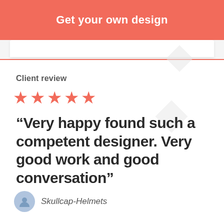[Figure (infographic): Coral/salmon colored call-to-action button banner at top reading 'Get your own design' in white bold text]
Client review
[Figure (infographic): Five red/coral star rating icons in a row]
“Very happy found such a competent designer. Very good work and good conversation”
Skullcap-Helmets